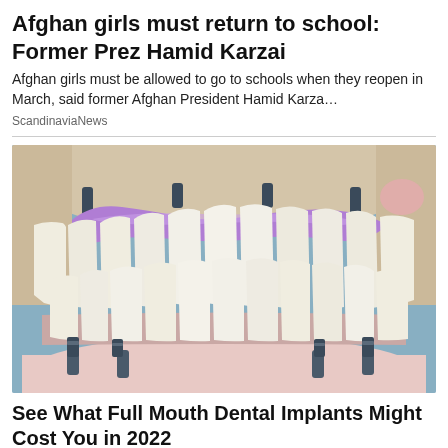Afghan girls must return to school: Former Prez Hamid Karzai
Afghan girls must be allowed to go to schools when they reopen in March, said former Afghan President Hamid Karza…
ScandinaviaNews
[Figure (photo): Close-up photo of a dental model showing upper and lower teeth with dental implant screws and purple gum-colored material around the upper arch.]
See What Full Mouth Dental Implants Might Cost You in 2022